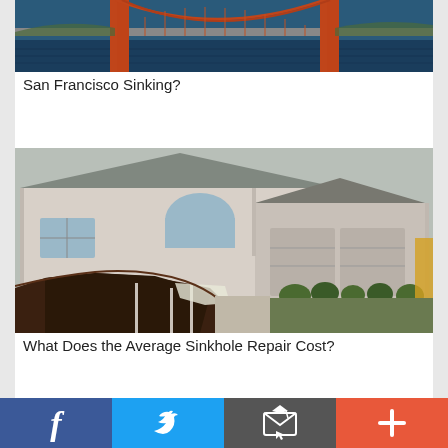[Figure (photo): Golden Gate Bridge in San Francisco, photo cropped to show the orange bridge spans against water and sky]
San Francisco Sinking?
[Figure (photo): A house perched on the edge of a large sinkhole that has opened up beneath its front yard, exposing deep brown earth and pipes]
What Does the Average Sinkhole Repair Cost?
Facebook | Twitter | Email | Plus social share buttons